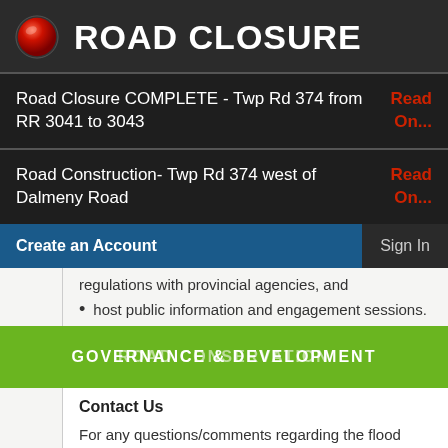ROAD CLOSURE
Road Closure COMPLETE - Twp Rd 374 from RR 3041 to 3043
Read On...
Road Construction- Twp Rd 374 west of Dalmeny Road
Read On...
Create an Account    Sign In
regulations with provincial agencies, and
host public information and engagement sessions.
GOVERNANCE & DEVELOPMENT ROAD CONSERVATION
Contact Us
For any questions/comments regarding the flood plain study please contact Vicky